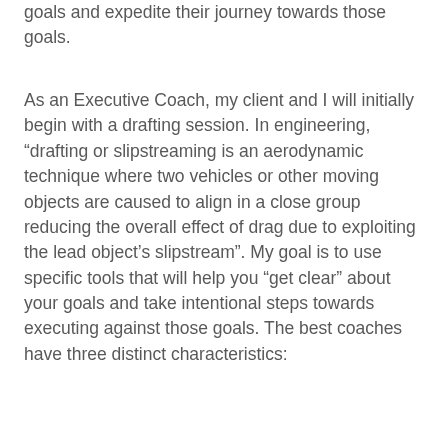goals and expedite their journey towards those goals.
As an Executive Coach, my client and I will initially begin with a drafting session. In engineering, “drafting or slipstreaming is an aerodynamic technique where two vehicles or other moving objects are caused to align in a close group reducing the overall effect of drag due to exploiting the lead object’s slipstream”. My goal is to use specific tools that will help you “get clear” about your goals and take intentional steps towards executing against those goals. The best coaches have three distinct characteristics: